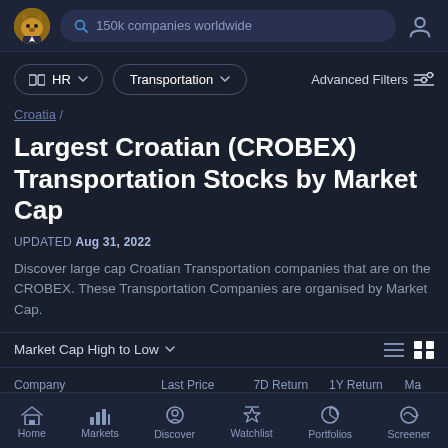[Figure (screenshot): Top navigation bar with logo, search bar '150k companies worldwide', and user icon]
HR  Transportation  Advanced Filters
Croatia /
Largest Croatian (CROBEX) Transportation Stocks by Market Cap
UPDATED Aug 31, 2022
Discover large cap Croatian Transportation companies that are on the CROBEX. These Transportation Companies are organised by Market Cap.
Market Cap High to Low
| Company | Last Price | 7D Return | 1Y Return | Ma |
| --- | --- | --- | --- | --- |
Home  Markets  Discover  Watchlist  Portfolios  Screener